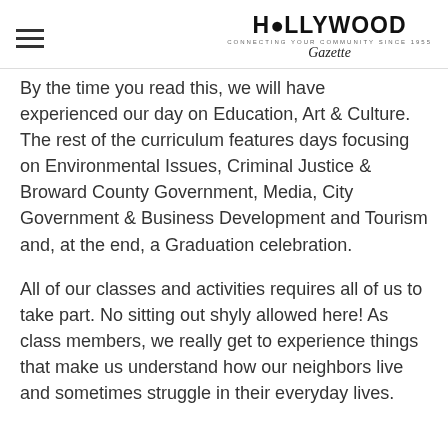HOLLYWOOD Gazette
By the time you read this, we will have experienced our day on Education, Art & Culture.  The rest of the curriculum features days focusing on Environmental Issues, Criminal Justice & Broward County Government, Media, City Government & Business Development and Tourism and, at the end, a Graduation celebration.
All of our classes and activities requires all of us to take part. No sitting out shyly allowed here!  As class members, we really get to experience things that make us understand how our neighbors live and sometimes struggle in their everyday lives.